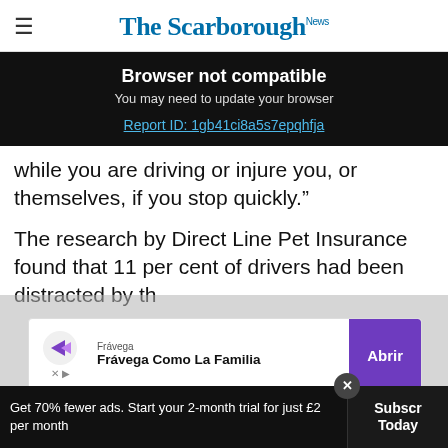The Scarborough News
[Figure (screenshot): Browser not compatible banner overlay on dark background with text 'Browser not compatible', 'You may need to update your browser', and link 'Report ID: 1gb41ci8a5s7epqhfja']
while you are driving or injure you, or themselves, if you stop quickly."
The research by Direct Line Pet Insurance found that 11 per cent of drivers had been distracted by th
[Figure (screenshot): Advertisement banner for Frávega Como La Familia with purple Abrir button]
Advertisement
Get 70% fewer ads. Start your 2-month trial for just £2 per month
Subscribe Today